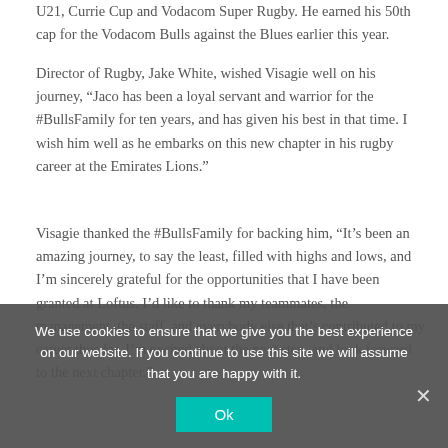U21, Currie Cup and Vodacom Super Rugby. He earned his 50th cap for the Vodacom Bulls against the Blues earlier this year.
Director of Rugby, Jake White, wished Visagie well on his journey, “Jaco has been a loyal servant and warrior for the #BullsFamily for ten years, and has given his best in that time. I wish him well as he embarks on this new chapter in his rugby career at the Emirates Lions.”
Visagie thanked the #BullsFamily for backing him, “It’s been an amazing journey, to say the least, filled with highs and lows, and I’m sincerely grateful for the opportunities that I have been granted at Loftus. I’d like to thank my teammates, the management, the staff, and everybody else that’s contributed to my career thus far. I’m excited about the next step, and look forward to the next chapter.”
We use cookies to ensure that we give you the best experience on our website. If you continue to use this site we will assume that you are happy with it.